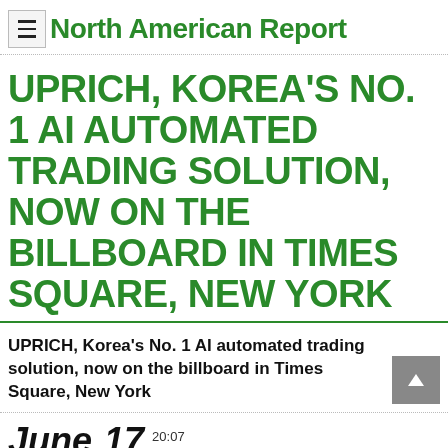North American Report
UPRICH, KOREA'S NO. 1 AI AUTOMATED TRADING SOLUTION, NOW ON THE BILLBOARD IN TIMES SQUARE, NEW YORK
UPRICH, Korea's No. 1 AI automated trading solution, now on the billboard in Times Square, New York
June 17  20:07  2022